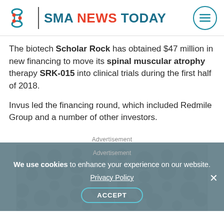SMA NEWS TODAY
The biotech Scholar Rock has obtained $47 million in new financing to move its spinal muscular atrophy therapy SRK-015 into clinical trials during the first half of 2018.
Invus led the financing round, which included Redmile Group and a number of other investors.
Advertisement
[Figure (other): Advertisement placeholder box with light grey background and abstract circular pattern]
We use cookies to enhance your experience on our website. Privacy Policy ACCEPT